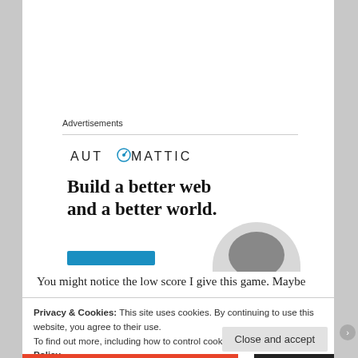Advertisements
[Figure (logo): Automattic logo with compass icon replacing the letter O]
[Figure (infographic): Advertisement for Automattic showing tagline 'Build a better web and a better world.' with a blue button and a partial photo of a person]
You might notice the low score I give this game. Maybe
Privacy & Cookies: This site uses cookies. By continuing to use this website, you agree to their use.
To find out more, including how to control cookies, see here: Cookie Policy
Close and accept